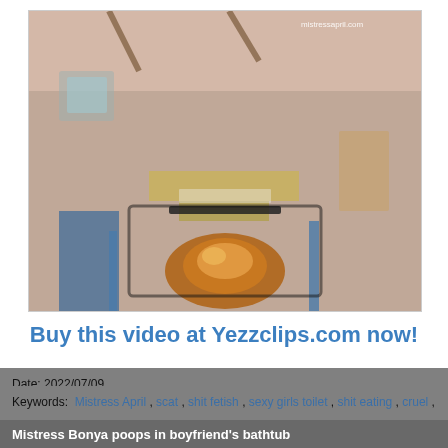[Figure (photo): Video thumbnail showing a person from behind with watermark 'mistressapril.com' in top right corner]
Buy this video at Yezzclips.com now!
Date: 2022/07/09
Keywords:  Mistress April ,  scat ,  shit fetish ,  sexy girls toilet ,  shit eating ,  cruel ,  toilet slave ,  shit femdom
Mistress Bonya poops in boyfriend's bathtub